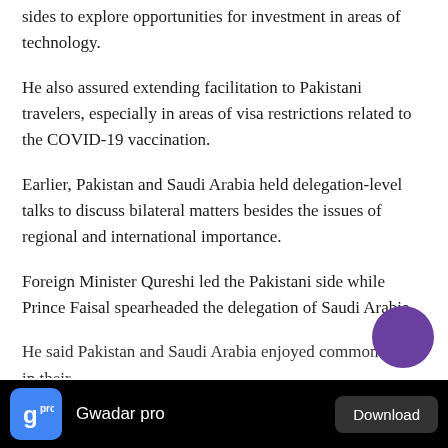sides to explore opportunities for investment in areas of technology.
He also assured extending facilitation to Pakistani travelers, especially in areas of visa restrictions related to the COVID-19 vaccination.
Earlier, Pakistan and Saudi Arabia held delegation-level talks to discuss bilateral matters besides the issues of regional and international importance.
Foreign Minister Qureshi led the Pakistani side while Prince Faisal spearheaded the delegation of Saudi Arabia.
He said Pakistan and Saudi Arabia enjoyed commonalities in their
[Figure (other): Purple circular button overlay in bottom-right area]
Gwadar pro  Download